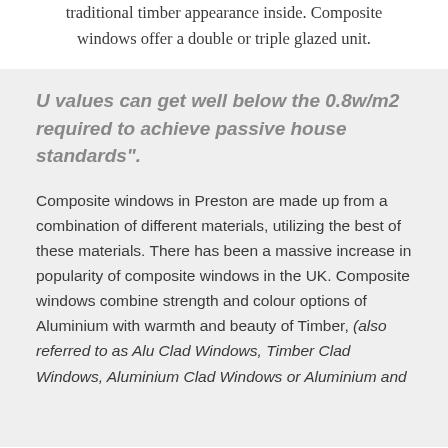traditional timber appearance inside. Composite windows offer a double or triple glazed unit.
U values can get well below the 0.8w/m2 required to achieve passive house standards".
Composite windows in Preston are made up from a combination of different materials, utilizing the best of these materials. There has been a massive increase in popularity of composite windows in the UK. Composite windows combine strength and colour options of Aluminium with warmth and beauty of Timber, (also referred to as Alu Clad Windows, Timber Clad Windows, Aluminium Clad Windows or Aluminium and